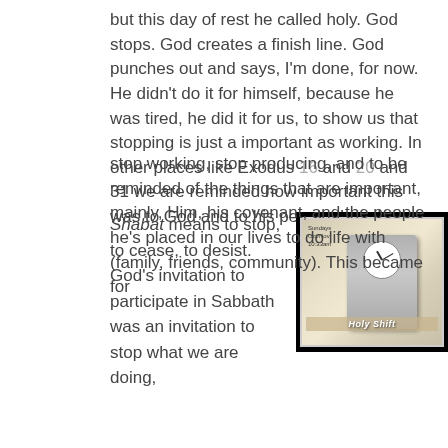but this day of rest he called holy. God stops. God creates a finish line. God punches out and says, I'm done, for now. He didn't do it for himself, because he was tired, he did it for us, to show us that stopping is just a important as working. In other places like Exodus 16 and 20 and 31 we are reminded how important this was to God and to his people, Israel.
Shabat means to stop, to cease, to desist. God's invitation to participate in Sabbath was an invitation to stop what we are doing,
[Figure (photo): A time clock device showing a clock face with hands, with text on the left reading 'Sundays Oct/Nov 10:33am', and 'Holy Shift' text overlaid on the image, set against a black background.]
stop working, stop producing, and to be reminded of the things that are important, mainly, Him, his covenant, and the people he's placed in our lives to do life with (family, friends, community). This became for